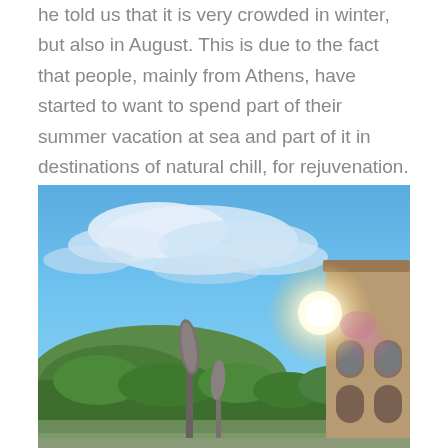We asked P. in Ioannis about tourism in Nymfaio and he told us that it is very crowded in winter, but also in August. This is due to the fact that people, mainly from Athens, have started to want to spend part of their summer vacation at sea and part of it in destinations of natural chill, for rejuvenation.
[Figure (photo): Outdoor sunny scene showing a blue sky with wispy clouds, a bright sun with lens flare on the right side, a stone building with arched windows on the right, a folded patio umbrella in the foreground, green trees and shrubs, and a hill in the background.]